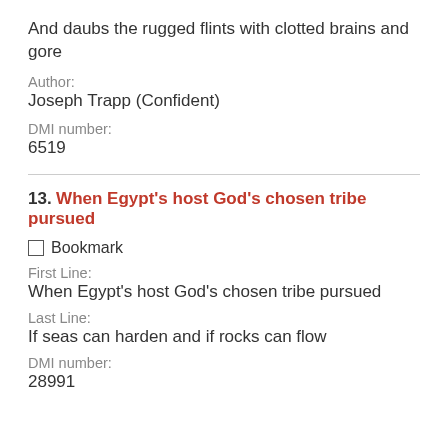And daubs the rugged flints with clotted brains and gore
Author:
Joseph Trapp (Confident)
DMI number:
6519
13. When Egypt's host God's chosen tribe pursued
Bookmark
First Line:
When Egypt's host God's chosen tribe pursued
Last Line:
If seas can harden and if rocks can flow
DMI number:
28991